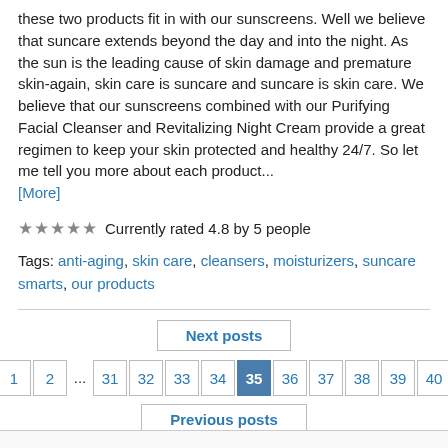these two products fit in with our sunscreens. Well we believe that suncare extends beyond the day and into the night. As the sun is the leading cause of skin damage and premature skin-again, skin care is suncare and suncare is skin care. We believe that our sunscreens combined with our Purifying Facial Cleanser and Revitalizing Night Cream provide a great regimen to keep your skin protected and healthy 24/7. So let me tell you more about each product... [More]
★★★★★ Currently rated 4.8 by 5 people
Tags: anti-aging, skin care, cleansers, moisturizers, suncare smarts, our products
Next posts
1 2 ... 31 32 33 34 35 36 37 38 39 40
Previous posts